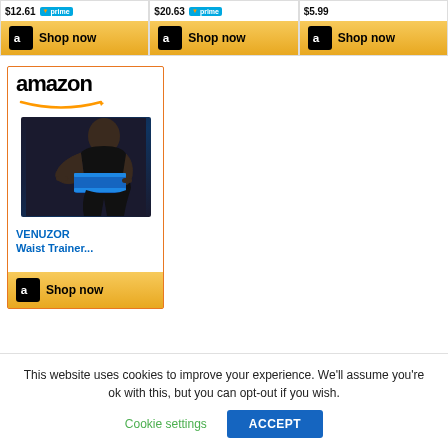[Figure (screenshot): Three Amazon product cards with prices ($12.61, $20.63, $5.99), Prime badges, and Shop now buttons with gold background]
[Figure (screenshot): Amazon ad card with orange border showing amazon logo, person wearing blue waist trainer, product title VENUZOR Waist Trainer..., and gold Shop now button]
This website uses cookies to improve your experience. We'll assume you're ok with this, but you can opt-out if you wish.
Cookie settings
ACCEPT